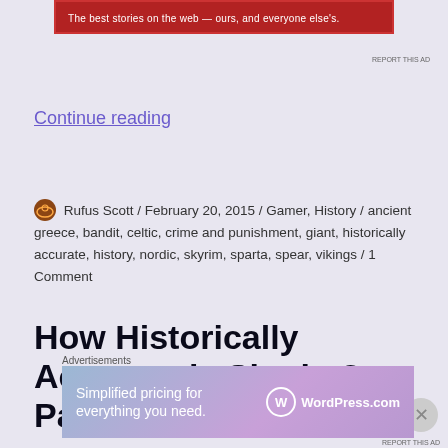[Figure (other): Red banner advertisement: 'The best stories on the web — ours, and everyone else's.']
REPORT THIS AD
Continue reading
Rufus Scott / February 20, 2015 / Gamer, History / ancient greece, bandit, celtic, crime and punishment, giant, historically accurate, history, nordic, skyrim, sparta, spear, vikings / 1 Comment
How Historically Accurate is Skyrim? Part 4
Advertisements
[Figure (other): WordPress.com advertisement banner: 'Simplified pricing for everything you need.']
REPORT THIS AD